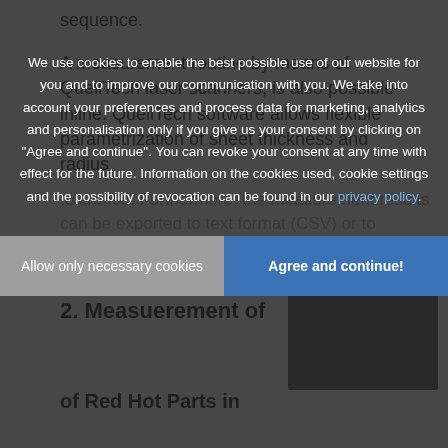sequence.
A measurement routine by means of QuellTech laser scanners, is also possible inline. QuellTech software allows flexible parametrization of sheet thickness and radius tolerance. Furthermore, the measurement results can be exported to text format (CSV) or to company ...
› More information about the application
2. Measuerement of
of Red Hot Parts in
We use cookies to enable the best possible use of our website for you and to improve our communication with you. We take into account your preferences and process data for marketing, analytics and personalisation only if you give us your consent by clicking on "Agree and continue". You can revoke your consent at any time with effect for the future. Information on the cookies used, cookie settings and the possibility of revocation can be found in our privacy policy.
Allow only necessary cookies
Agree and continue!